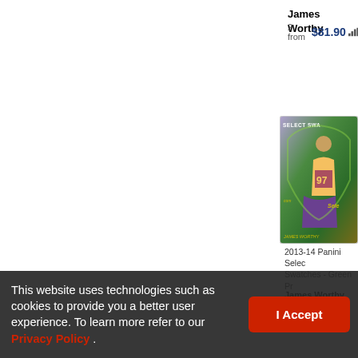James Worthy
2 from $81.90
[Figure (photo): James Worthy 2013-14 Panini Select Swatches Green Prizm trading card in protective sleeve showing player in Lakers uniform]
2013-14 Panini Select Swatches - Green Pr
James Worthy #/5
$73.21
This website uses technologies such as cookies to provide you a better user experience. To learn more refer to our Privacy Policy .